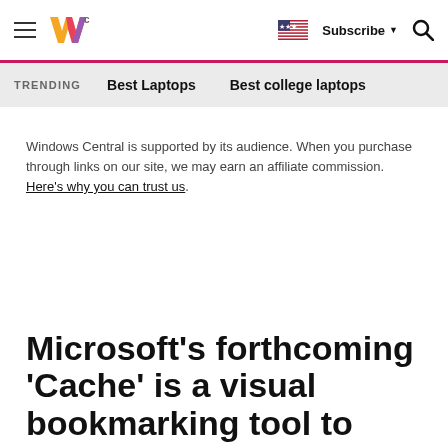Windows Central — hamburger menu, logo, flag, Subscribe, search
TRENDING   Best Laptops   Best college laptops
Windows Central is supported by its audience. When you purchase through links on our site, we may earn an affiliate commission. Here's why you can trust us.
Microsoft's forthcoming 'Cache' is a visual bookmarking tool to